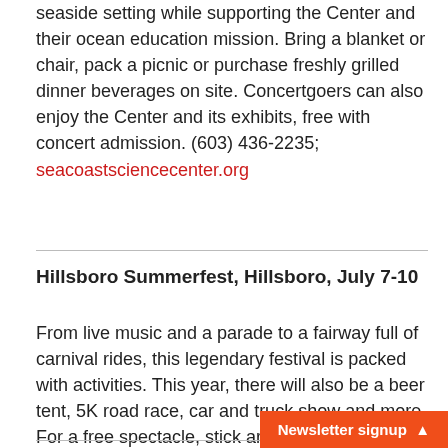seaside setting while supporting the Center and their ocean education mission. Bring a blanket or chair, pack a picnic or purchase freshly grilled dinner beverages on site. Concertgoers can also enjoy the Center and its exhibits, free with concert admission. (603) 436-2235; seacoastsciencecenter.org
Hillsboro Summerfest, Hillsboro, July 7-10
From live music and a parade to a fairway full of carnival rides, this legendary festival is packed with activities. This year, there will also be a beer tent, 5K road race, car and truck show and more. For a free spectacle, stick around till dusk on Friday night.  (603) 464-5858; balloonfestival.org